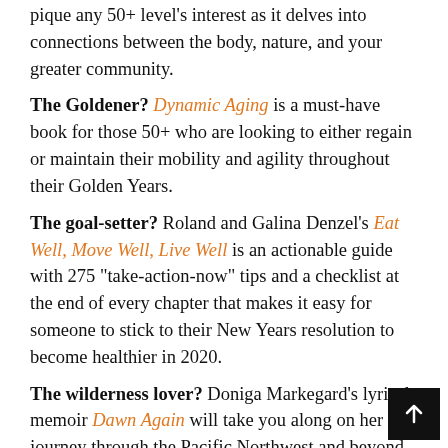pique any 50+ level's interest as it delves into connections between the body, nature, and your greater community.
The Goldener? Dynamic Aging is a must-have book for those 50+ who are looking to either regain or maintain their mobility and agility throughout their Golden Years.
The goal-setter? Roland and Galina Denzel's Eat Well, Move Well, Live Well is an actionable guide with 275 "take-action-now" tips and a checklist at the end of every chapter that makes it easy for someone to stick to their New Years resolution to become healthier in 2020.
The wilderness lover? Doniga Markegard's lyrical memoir Dawn Again will take you along on her journey through the Pacific Northwest and beyond—tracking wolves, herding cattle, and becoming connected to the natural world